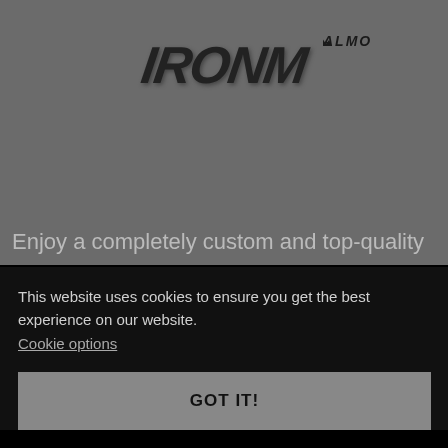[Figure (logo): Dark stylized brand logo text (IRONMAN style) with ALMO badge in top right, shown on a gray background with a horizontal divider line below]
Enjoy a completely custom and top-quality
This website uses cookies to ensure you get the best experience on our website.
Cookie options
GOT IT!